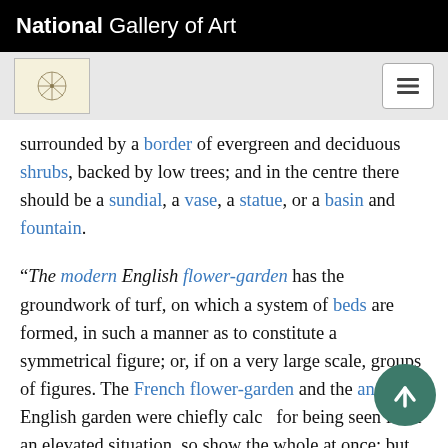National Gallery of Art
surrounded by a border of evergreen and deciduous shrubs, backed by low trees; and in the centre there should be a sundial, a vase, a statue, or a basin and fountain.
“The modern English flower-garden has the groundwork of turf, on which a system of beds are formed, in such a manner as to constitute a symmetrical figure; or, if on a very large scale, groups of figures. The French flower-garden and the ancient English garden were chiefly calcu[lated] for being seen from an elevated situation, so [as to] show the whole at once; but the modern English